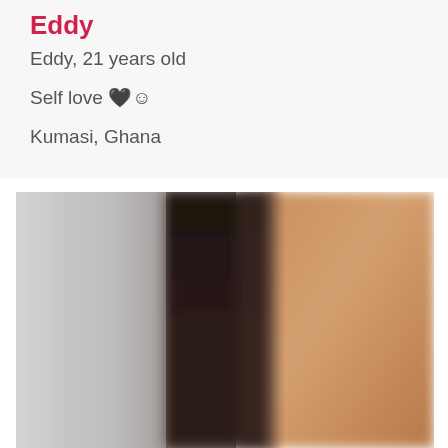Eddy
Eddy, 21 years old
Self love 🖤☺
Kumasi, Ghana
[Figure (photo): Close-up blurred photo of a person with dark hair, showing partial face/side profile against a grey background]